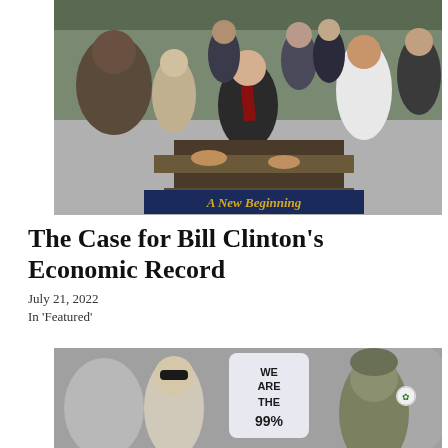[Figure (photo): Black and white photo of Bill Clinton signing legislation at a podium with 'A New Beginning' written on it, surrounded by a diverse group of people standing behind him.]
The Case for Bill Clinton's Economic Record
July 21, 2022
In 'Featured'
[Figure (photo): Photo of protest crowd with a person holding a large foam 'We Are The 99%' hand sign, and another person in a green beanie hat with a cannabis leaf button.]